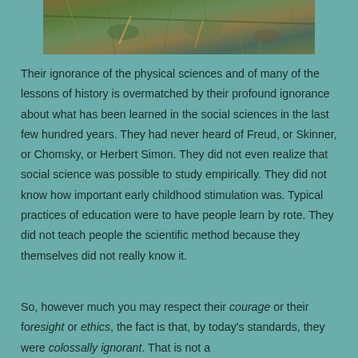[Figure (photo): A nature photograph showing grass, plants, and foliage on the ground, partially cropped at the top of the page.]
Their ignorance of the physical sciences and of many of the lessons of history is overmatched by their profound ignorance about what has been learned in the social sciences in the last few hundred years. They had never heard of Freud, or Skinner, or Chomsky, or Herbert Simon. They did not even realize that social science was possible to study empirically. They did not know how important early childhood stimulation was. Typical practices of education were to have people learn by rote. They did not teach people the scientific method because they themselves did not really know it.
So, however much you may respect their courage or their foresight or ethics, the fact is that, by today's standards, they were colossally ignorant. That is not a